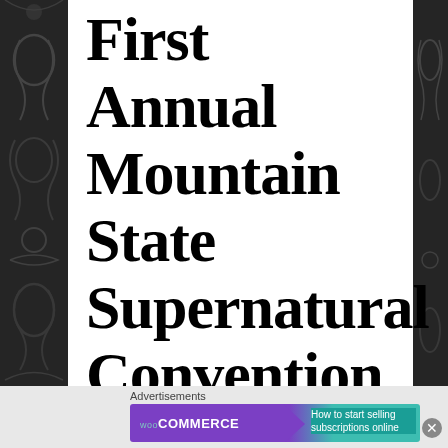First Annual Mountain State Supernatural Convention presented by
[Figure (illustration): Dark decorative panels on left and right sides with ornate floral/swirl tattoo-style patterns in dark grey/black]
Advertisements
[Figure (screenshot): WooCommerce advertisement banner: 'How to start selling subscriptions online']